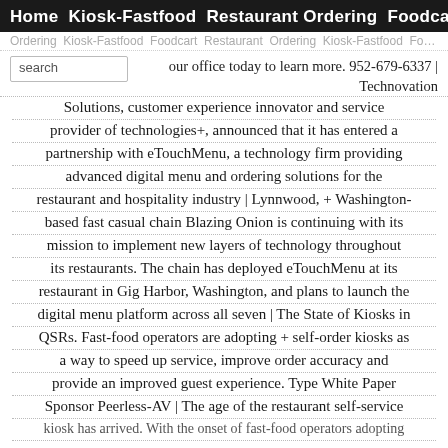Home  Kiosk-Fastfood  Restaurant Ordering  Foodcart
our office today to learn more. 952-679-6337 | Technovation Solutions, customer experience innovator and service provider of technologies+, announced that it has entered a partnership with eTouchMenu, a technology firm providing advanced digital menu and ordering solutions for the restaurant and hospitality industry | Lynnwood, + Washington-based fast casual chain Blazing Onion is continuing with its mission to implement new layers of technology throughout its restaurants. The chain has deployed eTouchMenu at its restaurant in Gig Harbor, Washington, and plans to launch the digital menu platform across all seven | The State of Kiosks in QSRs. Fast-food operators are adopting + self-order kiosks as a way to speed up service, improve order accuracy and provide an improved guest experience. Type White Paper Sponsor Peerless-AV | The age of the restaurant self-service kiosk